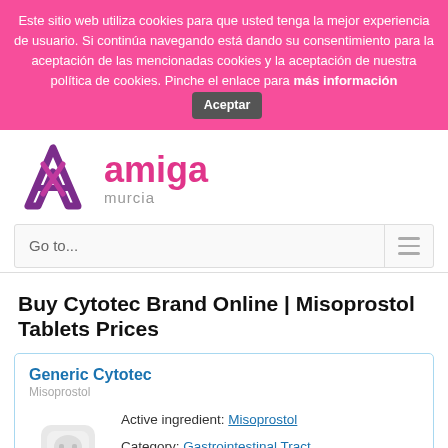Este sitio web utiliza cookies para que usted tenga la mejor experiencia de usuario. Si continúa navegando está dando su consentimiento para la aceptación de las mencionadas cookies y la aceptación de nuestra política de cookies. Pinche el enlace para más información  Aceptar
[Figure (logo): Amiga Murcia logo with stylized purple A icon and pink 'amiga' text with grey 'murcia' subtitle]
Go to...
Buy Cytotec Brand Online | Misoprostol Tablets Prices
Generic Cytotec
Misoprostol
Active ingredient: Misoprostol
Category: Gastrointestinal Tract